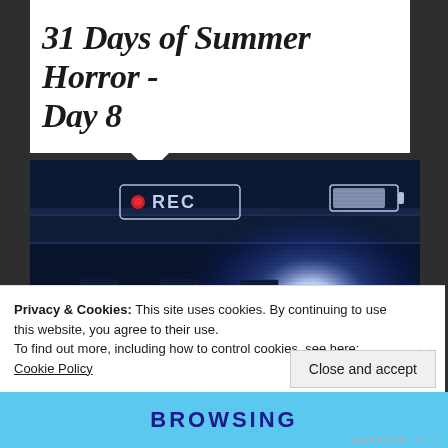31 Days of Summer Horror - Day 8
[Figure (screenshot): Night-vision style screenshot of a classroom scene showing rows of empty desks, a bright flashlight/light source in the background carried by a figure, with a REC indicator in the upper-left corner and a battery indicator in the upper-right corner. Blue-tinted surveillance camera aesthetic.]
Privacy & Cookies: This site uses cookies. By continuing to use this website, you agree to their use.
To find out more, including how to control cookies, see here: Cookie Policy
Close and accept
BROWSING